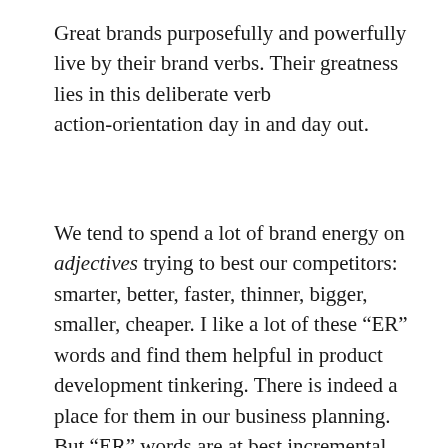Great brands purposefully and powerfully live by their brand verbs. Their greatness lies in this deliberate verb action-orientation day in and day out.
We tend to spend a lot of brand energy on adjectives trying to best our competitors: smarter, better, faster, thinner, bigger, smaller, cheaper. I like a lot of these “ER” words and find them helpful in product development tinkering. There is indeed a place for them in our business planning. But “ER” words are at best incremental improvements on existing solutions. They are not words of vision. Verbs